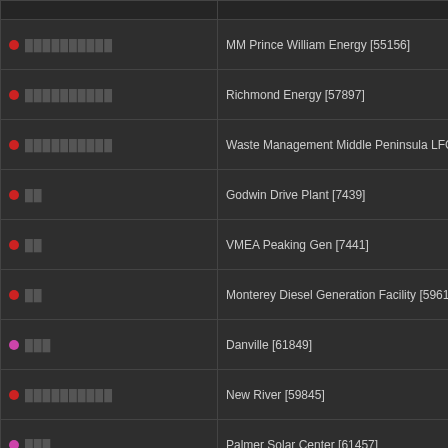|  |  |
| --- | --- |
| [redacted] ● ██████████ | MM Prince William Energy [55156] |
| [redacted] ● ██████████ | Richmond Energy [57897] |
| [redacted] ● ██████████ | Waste Management Middle Peninsula LFGTE |
| [redacted] ● ██ | Godwin Drive Plant [7439] |
| [redacted] ● ██ | VMEA Peaking Gen [7441] |
| [redacted] ● ██ | Monterey Diesel Generation Facility [59614] |
| [redacted] ● ███ | Danville [61849] |
| [redacted] ● ██████████ | New River [59845] |
| [redacted] ● ███ | Palmer Solar Center [61457] |